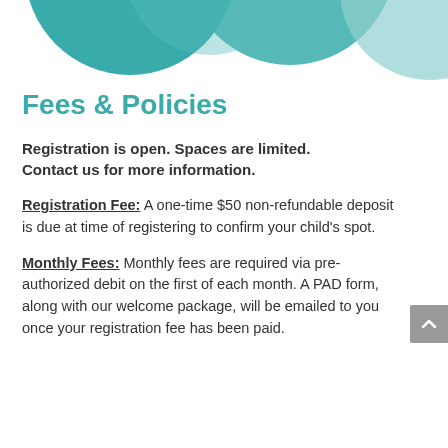[Figure (illustration): Decorative teal/mint overlapping circle shapes at the top of the page]
Fees & Policies
Registration is open. Spaces are limited. Contact us for more information.
Registration Fee: A one-time $50 non-refundable deposit is due at time of registering to confirm your child's spot.
Monthly Fees: Monthly fees are required via pre-authorized debit on the first of each month. A PAD form, along with our welcome package, will be emailed to you once your registration fee has been paid.